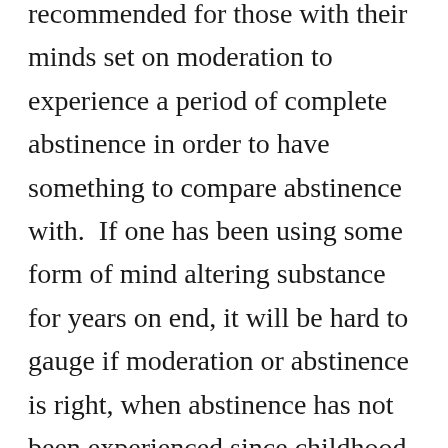recommended for those with their minds set on moderation to experience a period of complete abstinence in order to have something to compare abstinence with.  If one has been using some form of mind altering substance for years on end, it will be hard to gauge if moderation or abstinence is right, when abstinence has not been experienced since childhood, or years in the past.  Taking a break from all substances for at least 30 days (if possible) gives one the opportunity to compare how they feel being sober, versus having a mood